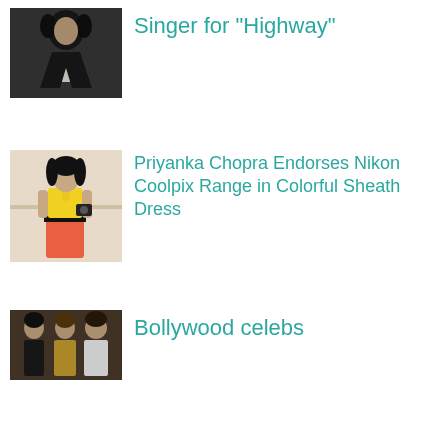[Figure (photo): Woman in black outfit with curly hair]
Singer for “Highway”
[Figure (photo): Priyanka Chopra in yellow top and orange skirt holding camera]
Priyanka Chopra Endorses Nikon Coolpix Range in Colorful Sheath Dress
[Figure (photo): Bollywood celebrities group photo]
Bollywood celebs